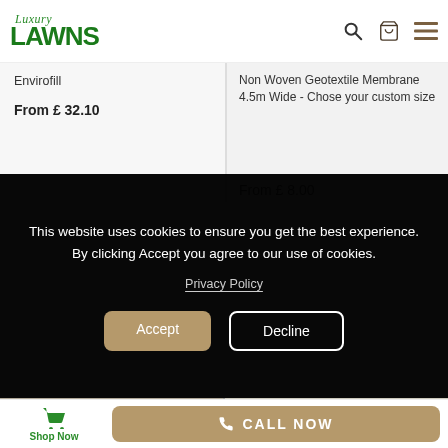[Figure (logo): Luxury Lawns logo with italic serif 'Luxury' above bold green 'LAWNS']
Envirofill
From £ 32.10
Non Woven Geotextile Membrane 4.5m Wide - Chose your custom size
From £ 8.00
This website uses cookies to ensure you get the best experience. By clicking Accept you agree to our use of cookies.
Privacy Policy
Accept
Decline
Shop Now
CALL NOW